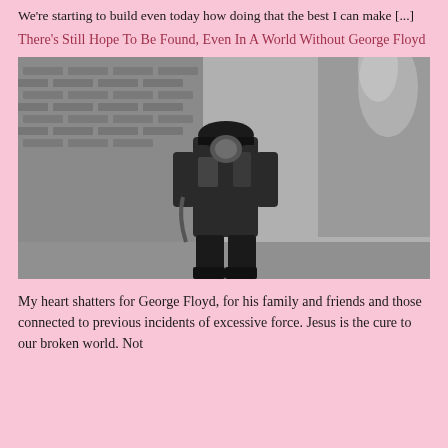We're starting to build even today how doing that the best I can make [...]
There's Still Hope To Be Found, Even In A World Without George Floyd
[Figure (photo): Black and white photograph of a firefighter in full gear standing in front of a brick building with smoke visible in the background.]
My heart shatters for George Floyd, for his family and friends and those connected to previous incidents of excessive force. Jesus is the cure to our broken world. Not